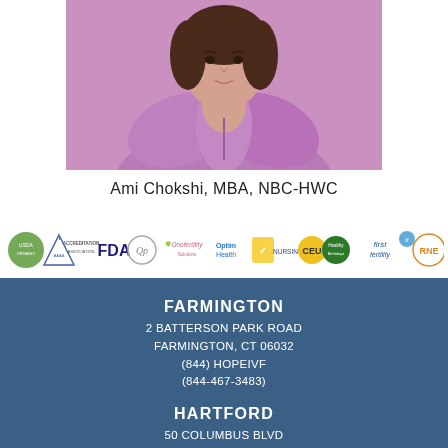[Figure (photo): Head and shoulders photo of Ami Chokshi wearing a lavender/pink ruffled blouse]
Ami Chokshi, MBA, NBC-HWC
[Figure (logo): Row of partner/accreditation logos including FDA, Onofertility, OptimHealth, first fertility, RNE and others]
FARMINGTON
2 BATTERSON PARK ROAD
FARMINGTON, CT 06032
(844) HOPEIVF
(844-467-3483)
HARTFORD
50 COLUMBUS BLVD